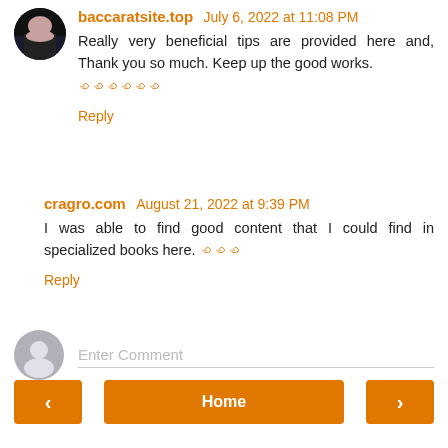baccaratsite.top July 6, 2022 at 11:08 PM
Really very beneficial tips are provided here and, Thank you so much. Keep up the good works.
🀄🀄🀄🀄🀄🀄
Reply
cragro.com August 21, 2022 at 9:39 PM
I was able to find good content that I could find in specialized books here. 🀄🀄🀄
Reply
Enter Comment
Home